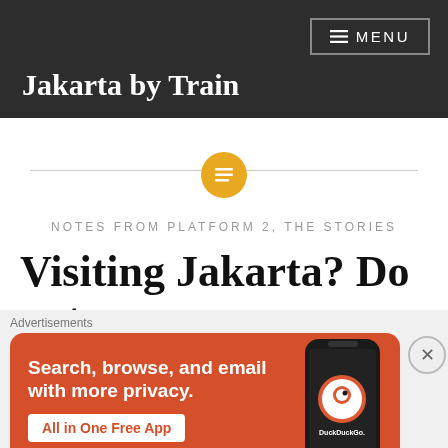Jakarta by Train
[Figure (other): Horizontal divider line with a golden circular icon containing a document/list symbol in the center]
NOTES FROM PLATFORM 2, THE STORIES
Visiting Jakarta? Do not
[Figure (other): DuckDuckGo advertisement banner: Search, browse, and email with more privacy. All in One Free App. Shows a phone with DuckDuckGo logo on an orange/red background.]